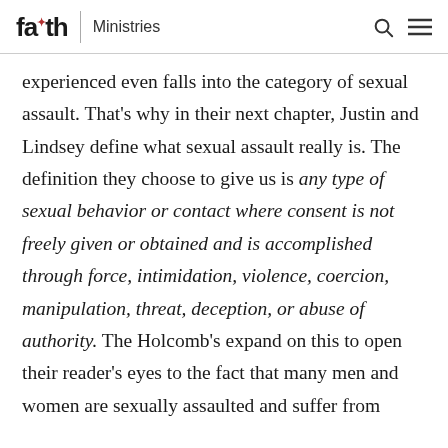faith Ministries
experienced even falls into the category of sexual assault. That’s why in their next chapter, Justin and Lindsey define what sexual assault really is. The definition they choose to give us is any type of sexual behavior or contact where consent is not freely given or obtained and is accomplished through force, intimidation, violence, coercion, manipulation, threat, deception, or abuse of authority. The Holcomb’s expand on this to open their reader’s eyes to the fact that many men and women are sexually assaulted and suffer from